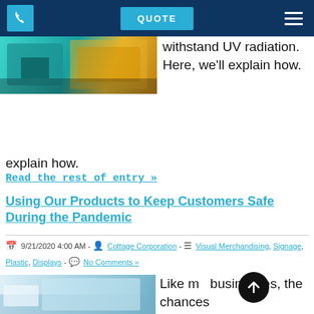QUOTE
[Figure (photo): Industrial machinery with teal/cyan colored equipment in a factory setting]
withstand UV radiation. Here, we'll explain how.
Read the rest of entry »
Using Our Products to Keep Customers Safe During the Pandemic
9/21/2020 4:00 AM - Cottage Corporation - Visual Merchandising, Signage, Plastic, Displays - No Comments »
[Figure (photo): Close-up of hands handling clear plastic sheeting or barrier]
Like m businesses, the chances